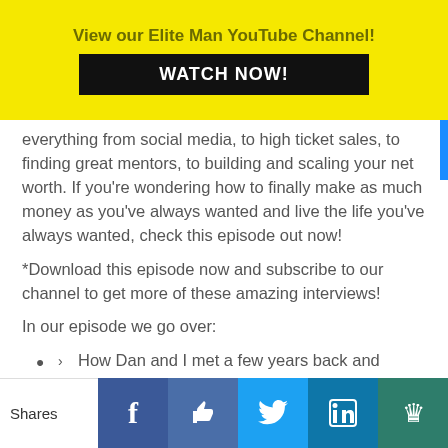View our Elite Man YouTube Channel! WATCH NOW!
everything from social media, to high ticket sales, to finding great mentors, to building and scaling your net worth. If you're wondering how to finally make as much money as you've always wanted and live the life you've always wanted, check this episode out now!
*Download this episode now and subscribe to our channel to get more of these amazing interviews!
In our episode we go over:
How Dan and I met a few years back and
Shares